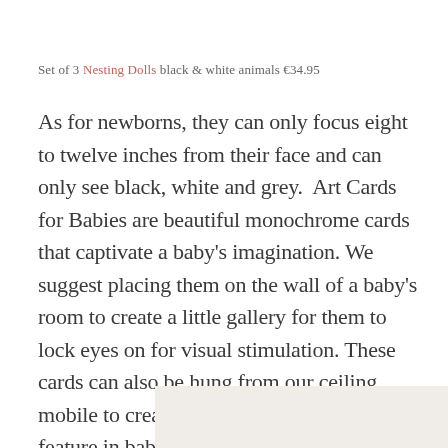Set of 3 Nesting Dolls black & white animals €34.95
As for newborns, they can only focus eight to twelve inches from their face and can only see black, white and grey. Art Cards for Babies are beautiful monochrome cards that captivate a baby's imagination. We suggest placing them on the wall of a baby's room to create a little gallery for them to lock eyes on for visual stimulation. These cards can also be hung from our ceiling mobile to create a stimulating hanging feature in baby's room.
[Figure (photo): Partial view of product images at bottom of page, light beige/cream background]